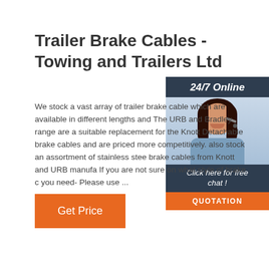Trailer Brake Cables - Towing and Trailers Ltd
[Figure (infographic): Customer service representative with headset, sidebar with '24/7 Online', 'Click here for free chat!' text and QUOTATION button on dark blue background]
We stock a vast array of trailer brake cables which are available in different lengths and... The URB and Bradley range are a suitable replacement for the Knott Detachable brake cables and are priced more competitively. also stock an assortment of stainless steel brake cables from Knott and URB manufacturers. If you are not sure on what style of brake cable you need- Please use ...
Get Price